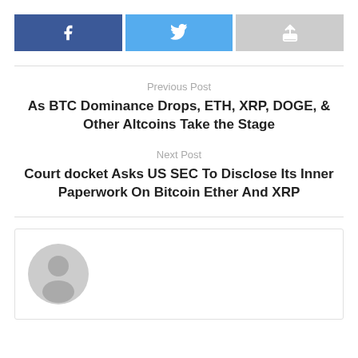[Figure (other): Social share buttons: Facebook (blue), Twitter (light blue), Share/forward (gray)]
Previous Post
As BTC Dominance Drops, ETH, XRP, DOGE, & Other Altcoins Take the Stage
Next Post
Court docket Asks US SEC To Disclose Its Inner Paperwork On Bitcoin Ether And XRP
[Figure (illustration): Generic user/author avatar placeholder icon — circular gray silhouette of a person]